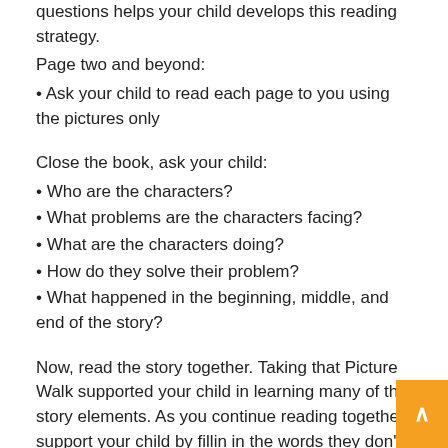questions helps your child develops this reading strategy.
Page two and beyond:
• Ask your child to read each page to you using the pictures only
Close the book, ask your child:
• Who are the characters?
• What problems are the characters facing?
• What are the characters doing?
• How do they solve their problem?
• What happened in the beginning, middle, and end of the story?
Now, read the story together. Taking that Picture Walk supported your child in learning many of the story elements. As you continue reading together, support your child by filling in the words they don't know. All of the above are reading strategies and skills your children will encounter in school.